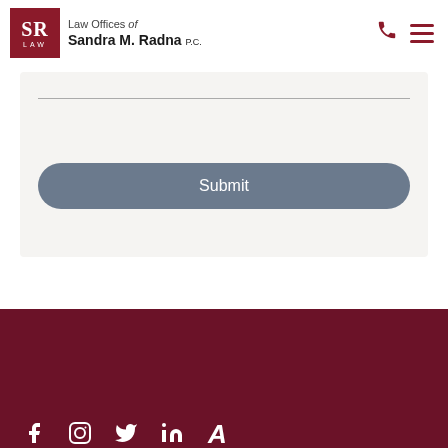Law Offices of Sandra M. Radna P.C.
[Figure (screenshot): Web page form area with a horizontal rule/input line, blank space, and a Submit button with rounded corners on a light gray background.]
Footer with social media icons: Facebook, Instagram, Twitter, LinkedIn, Avvo on dark red background.